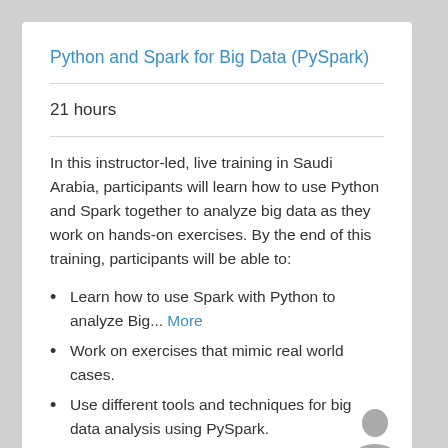Python and Spark for Big Data (PySpark)
21 hours
In this instructor-led, live training in Saudi Arabia, participants will learn how to use Python and Spark together to analyze big data as they work on hands-on exercises. By the end of this training, participants will be able to:
Learn how to use Spark with Python to analyze Big... More
Work on exercises that mimic real world cases.
Use different tools and techniques for big data analysis using PySpark.
Less